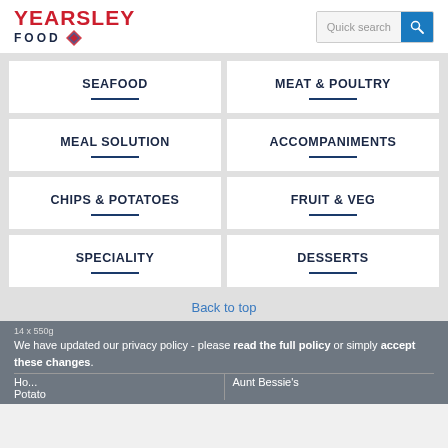[Figure (logo): Yearsley Food logo with red text YEARSLEY and dark blue FOOD with diamond graphic]
Quick search
SEAFOOD
MEAT & POULTRY
MEAL SOLUTION
ACCOMPANIMENTS
CHIPS & POTATOES
FRUIT & VEG
SPECIALITY
DESSERTS
Back to top
14 x 550g
We have updated our privacy policy - please read the full policy or simply accept these changes.
Ho... Potato
Aunt Bessie's